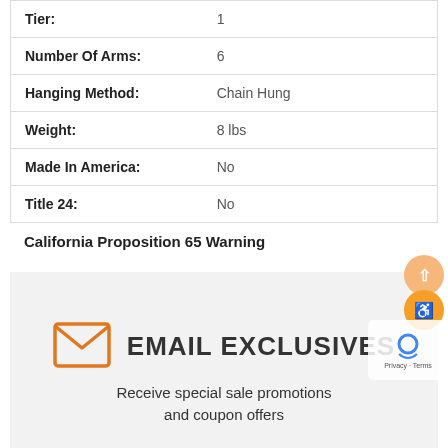| Tier: | 1 |
| Number Of Arms: | 6 |
| Hanging Method: | Chain Hung |
| Weight: | 8 lbs |
| Made In America: | No |
| Title 24: | No |
California Proposition 65 Warning
[Figure (infographic): Email Exclusives signup banner with envelope icon, title 'EMAIL EXCLUSIVES', and text 'Receive special sale promotions and coupon offers']